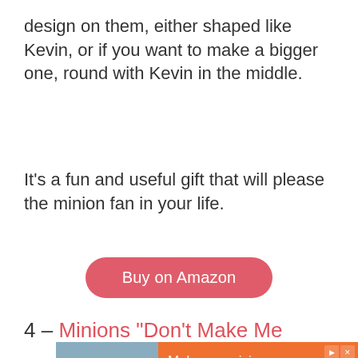design on them, either shaped like Kevin, or if you want to make a bigger one, round with Kevin in the middle.
It's a fun and useful gift that will please the minion fan in your life.
Buy on Amazon
4 – Minions “Don’t Make Me
[Figure (photo): Advertisement banner showing a woman's photo on the left and Comfort Keepers caregiving job ad on orange background with text 'Make caregiving your next career']